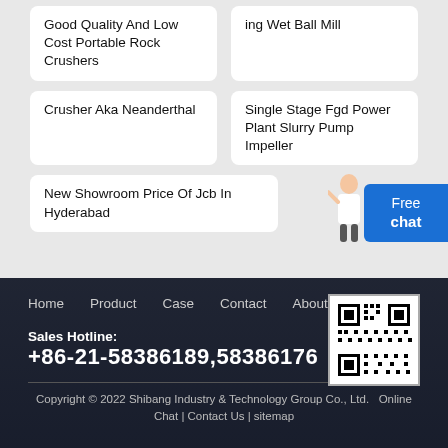Good Quality And Low Cost Portable Rock Crushers
ing Wet Ball Mill
Crusher Aka Neanderthal
Single Stage Fgd Power Plant Slurry Pump Impeller
New Showroom Price Of Jcb In Hyderabad
Free chat
Home  Product  Case  Contact  About
Sales Hotline: +86-21-58386189,58386176
[Figure (other): QR code for website]
Copyright © 2022 Shibang Industry & Technology Group Co., Ltd.  Online Chat | Contact Us | sitemap